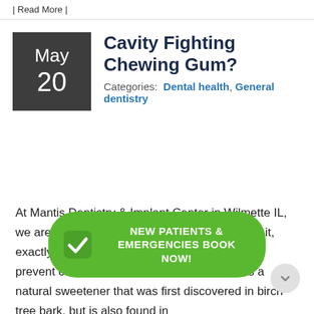| Read More |
Cavity Fighting Chewing Gum?
Categories: Dental health, General dentistry
At Mantis Dentistry & Implant Center in Wilmette IL, we are sometimes asked about Xylitol. What is it, exactly? Is there really a sweetener that helps prevent cavities? The an...ol is a natural sweetener that was first discovered in birch tree bark, but is also found in
[Figure (other): Green rounded CTA button with checkmark icon reading NEW PATIENTS & EMERGENCIES BOOK NOW!]